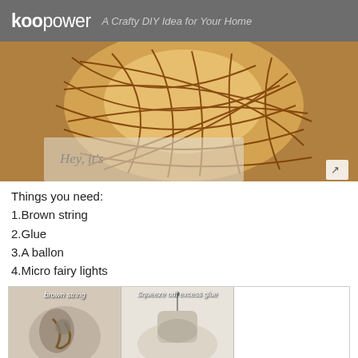KOOpower — A Crafty DIY Idea for Your Home
[Figure (photo): A decorative globe lamp made from brown string wrapped around a balloon, lit from within, sitting on a desk. Text 'Hey, it's' partially visible in lower left.]
Things you need:
1.Brown string
2.Glue
3.A ballon
4.Micro fairy lights
[Figure (photo): Three tutorial step thumbnails: 1) 'brown string' - hands pulling string through glue, 2) 'Squeeze out excess glue' - hand with pin/needle squeezing glue, 3) 'wrap' - blue balloon with string being wrapped around it. Bottom row shows two more thumbnail stills. Page indicator shows 1/7.]